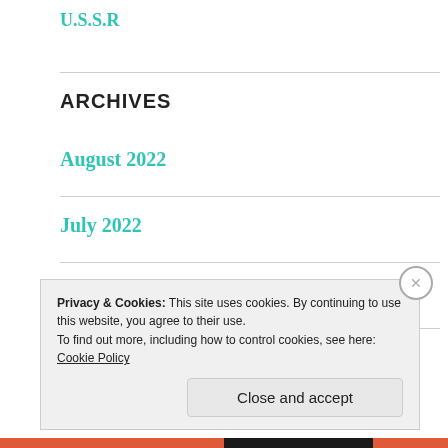U.S.S.R
ARCHIVES
August 2022
July 2022
June 2022
Privacy & Cookies: This site uses cookies. By continuing to use this website, you agree to their use.
To find out more, including how to control cookies, see here: Cookie Policy
Close and accept